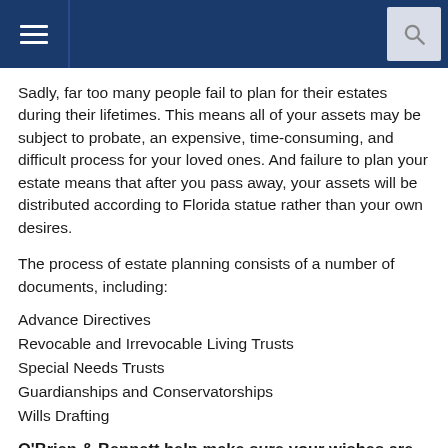Navigation header with hamburger menu and search button
Sadly, far too many people fail to plan for their estates during their lifetimes. This means all of your assets may be subject to probate, an expensive, time-consuming, and difficult process for your loved ones. And failure to plan your estate means that after you pass away, your assets will be distributed according to Florida statue rather than your own desires.
The process of estate planning consists of a number of documents, including:
Advance Directives
Revocable and Irrevocable Living Trusts
Special Needs Trusts
Guardianships and Conservatorships
Wills Drafting
O'Brien & Bennett help make sure your wishes are honored